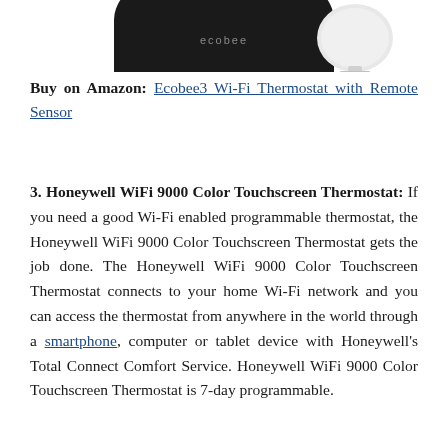[Figure (photo): Partial image of Ecobee3 Wi-Fi thermostat with remote sensor, showing the bottom portion of the devices on a white background]
Buy on Amazon: Ecobee3 Wi-Fi Thermostat with Remote Sensor
3. Honeywell WiFi 9000 Color Touchscreen Thermostat: If you need a good Wi-Fi enabled programmable thermostat, the Honeywell WiFi 9000 Color Touchscreen Thermostat gets the job done. The Honeywell WiFi 9000 Color Touchscreen Thermostat connects to your home Wi-Fi network and you can access the thermostat from anywhere in the world through a smartphone, computer or tablet device with Honeywell's Total Connect Comfort Service. Honeywell WiFi 9000 Color Touchscreen Thermostat is 7-day programmable.